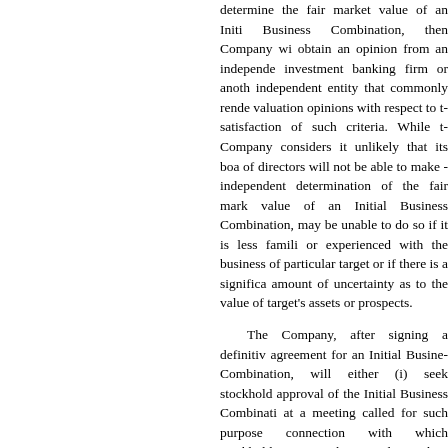determine the fair market value of an Initial Business Combination, then Company will obtain an opinion from an independent investment banking firm or another independent entity that commonly renders valuation opinions with respect to the satisfaction of such criteria. While the Company considers it unlikely that its board of directors will not be able to make an independent determination of the fair market value of an Initial Business Combination, it may be unable to do so if it is less familiar or experienced with the business of a particular target or if there is a significant amount of uncertainty as to the value of the target's assets or prospects.
The Company, after signing a definitive agreement for an Initial Business Combination, will either (i) seek stockholder approval of the Initial Business Combination at a meeting called for such purpose in connection with which stockholders may seek to redeem their Public Shares, regardless of whether they vote for or against the Initial Business Combination, for cash equal to their pro rata share of the aggregate amount then on deposit in the